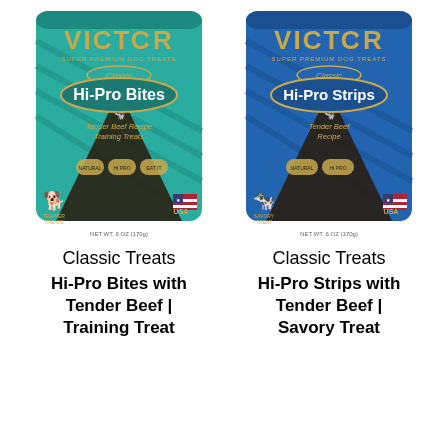[Figure (illustration): Victor Super Premium Dog Treats – Classic Hi-Pro Bites, Tender Beef Recipe, Training Treats – teal resealable pouch bag]
[Figure (illustration): Victor Super Premium Dog Treats – Classic Hi-Pro Strips, Tender Beef Recipe, Savory Treat – blue resealable pouch bag]
Classic Treats
Hi-Pro Bites with Tender Beef | Training Treat
Classic Treats
Hi-Pro Strips with Tender Beef | Savory Treat